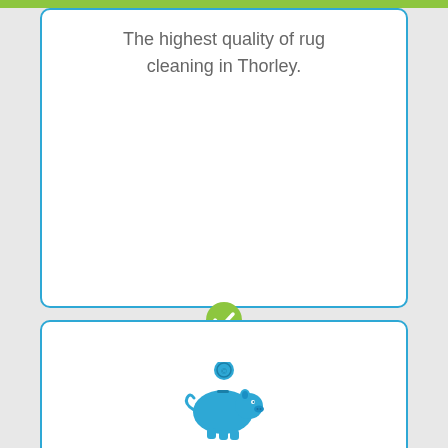The highest quality of rug cleaning in Thorley.
[Figure (illustration): Blue piggy bank icon with a coin on top]
Our specialist rug cleaning facility is state-of-the-art.